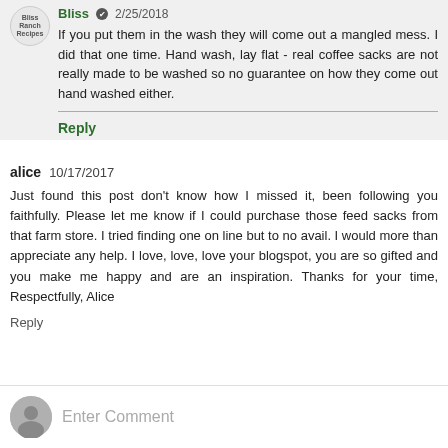If you put them in the wash they will come out a mangled mess. I did that one time. Hand wash, lay flat - real coffee sacks are not really made to be washed so no guarantee on how they come out hand washed either.
Reply
alice  10/17/2017
Just found this post don't know how I missed it, been following you faithfully. Please let me know if I could purchase those feed sacks from that farm store. I tried finding one on line but to no avail. I would more than appreciate any help. I love, love, love your blogspot, you are so gifted and you make me happy and are an inspiration. Thanks for your time, Respectfully, Alice
Reply
Enter Comment